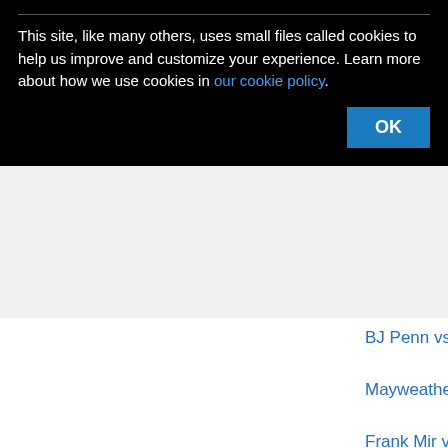This site, like many others, uses small files called cookies to help us improve and customize your experience. Learn more about how we use cookies in our cookie policy.
OK
BJ Penn vs Nick Diaz
Mayweather vs Cotto
Frank Mir vs
Top 10 fights average rating
1. Tyson Fury vs Wilder 3
2. Alex Saucedo vs Zappavigna
3. W...
4. M...
[Figure (other): Loading video spinner overlay on black background with close button and X button]
[Figure (photo): Macy's advertisement: KISS BORING LIPS GOODBYE with SHOP NOW button and Macy's star logo]